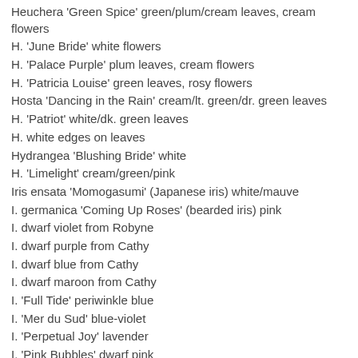Heuchera 'Green Spice' green/plum/cream leaves, cream flowers
H. 'June Bride' white flowers
H. 'Palace Purple' plum leaves, cream flowers
H. 'Patricia Louise' green leaves, rosy flowers
Hosta 'Dancing in the Rain' cream/lt. green/dr. green leaves
H. 'Patriot' white/dk. green leaves
H. white edges on leaves
Hydrangea 'Blushing Bride' white
H. 'Limelight' cream/green/pink
Iris ensata 'Momogasumi' (Japanese iris) white/mauve
I. germanica 'Coming Up Roses' (bearded iris) pink
I. dwarf violet from Robyne
I. dwarf purple from Cathy
I. dwarf blue from Cathy
I. dwarf maroon from Cathy
I. 'Full Tide' periwinkle blue
I. 'Mer du Sud' blue-violet
I. 'Perpetual Joy' lavender
I. 'Pink Bubbles' dwarf pink
I. purple w/ruffles from Cathy
I. 'Pure as Gold' yellow